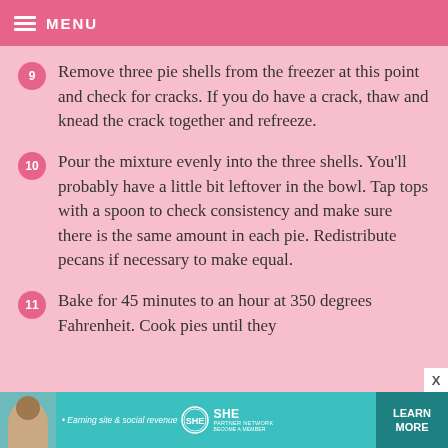MENU
Remove three pie shells from the freezer at this point and check for cracks. If you do have a crack, thaw and knead the crack together and refreeze.
Pour the mixture evenly into the three shells. You'll probably have a little bit leftover in the bowl. Tap tops with a spoon to check consistency and make sure there is the same amount in each pie. Redistribute pecans if necessary to make equal.
Bake for 45 minutes to an hour at 350 degrees Fahrenheit. Cook pies until they
[Figure (infographic): SHE Media advertisement banner with teal background. Shows a woman's photo, text 'Earning site & social revenue', SHE logo, PARTNER NETWORK, BECOME A MEMBER, and a LEARN MORE button.]